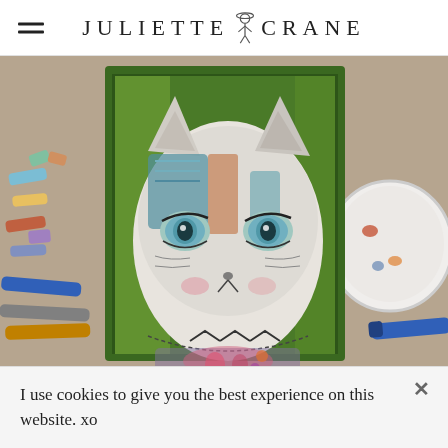JULIETTE CRANE
[Figure (photo): A mixed-media artwork of a cat face with human-like eyes painted on canvas, surrounded by art supplies including pastels, markers, and a paint palette on a worktable.]
I use cookies to give you the best experience on this website. xo